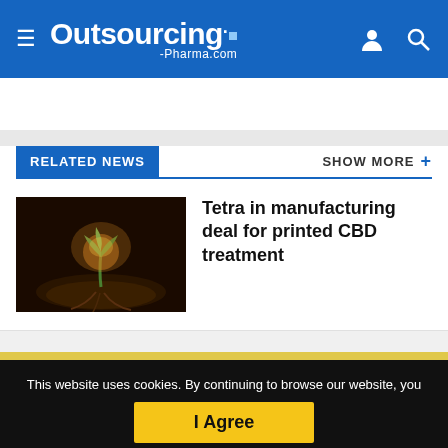Outsourcing-Pharma.com
RELATED NEWS
[Figure (photo): A small plant seedling growing from dark soil, illuminated by warm golden light against a dark background.]
Tetra in manufacturing deal for printed CBD treatment
This website uses cookies. By continuing to browse our website, you are agreeing to our use of cookies. You can learn more about cookies by visiting our privacy & cookies policy page.
I Agree